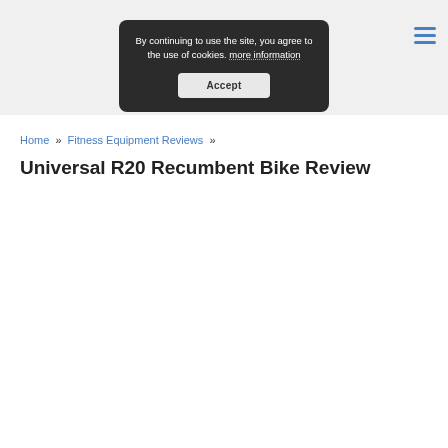By continuing to use the site, you agree to the use of cookies. more information Accept
Home » Fitness Equipment Reviews »
Universal R20 Recumbent Bike Review